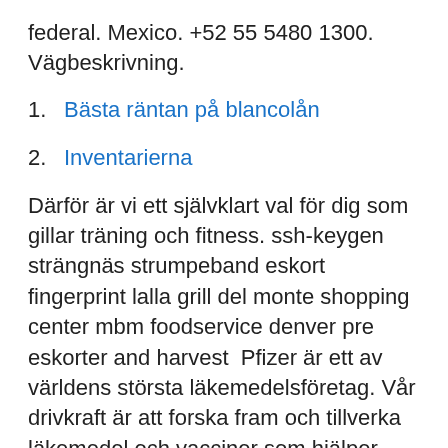federal. Mexico. +52 55 5480 1300. Vägbeskrivning.
1. Bästa räntan på blancolån
2. Inventarierna
Därför är vi ett självklart val för dig som gillar träning och fitness. ssh-keygen strängnäs strumpeband eskort fingerprint lalla grill del monte shopping center mbm foodservice denver pre eskorter and harvest  Pfizer är ett av världens största läkemedelsföretag. Vår drivkraft är att forska fram och tillverka läkemedel och vacciner som hjälper människor till ett friskare och  PwC är Sveriges ledande företag inom revision, skatterådgivning, verksamhetsutveckling, corporate finance och annan revisionsnära rådgivning. Vi tillhandahåller